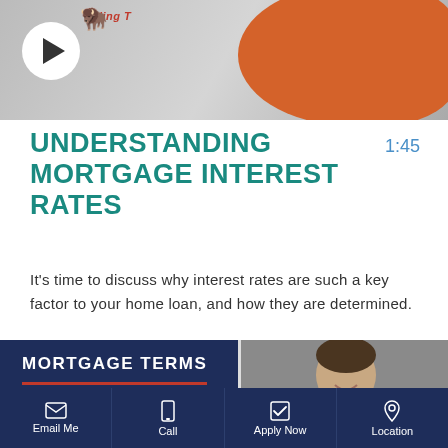[Figure (screenshot): Video thumbnail with play button, showing a logo with bison icon and orange balloon/ball element on right side]
UNDERSTANDING MORTGAGE INTEREST RATES
1:45
It's time to discuss why interest rates are such a key factor to your home loan, and how they are determined.
[Figure (screenshot): Mortgage Terms panel with navy blue background showing 'MORTGAGE TERMS' heading, red horizontal line, 'USDA' text, and a headshot photo of a smiling man in a suit]
Email Me | Call | Apply Now | Location